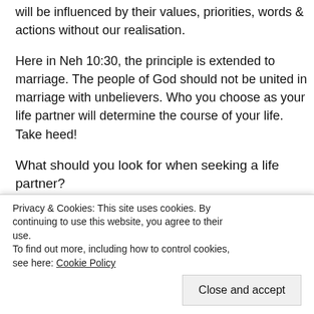will be influenced by their values, priorities, words & actions without our realisation.
Here in Neh 10:30, the principle is extended to marriage. The people of God should not be united in marriage with unbelievers. Who you choose as your life partner will determine the course of your life. Take heed!
What should you look for when seeking a life partner?
1 Pet 3:3-4 exhorts wives – "Do not let your adornment be merely outward—arranging the hair, wearing gold, putting on fine apparel— rather let it be the hidden person of the heart, with the incorruptible beauty of a gentle and quiet spirit
appearances, but the inner traits of character & grace in a
Privacy & Cookies: This site uses cookies. By continuing to use this website, you agree to their use. To find out more, including how to control cookies, see here: Cookie Policy